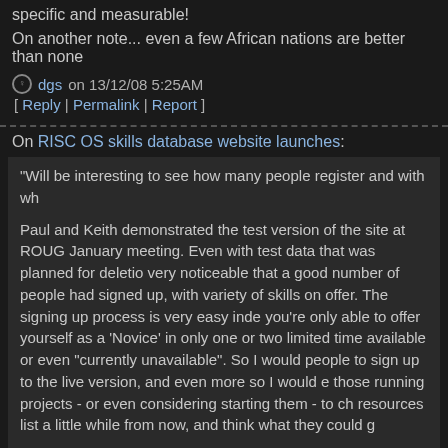specific and measurable!
On another note... even a few African nations are better than none
dgs on 13/12/08 5:25AM
[ Reply | Permalink | Report ]
On RISC OS skills database website launches:
"Will be interesting to see how many people register and with wh
Paul and Keith demonstrated the test version of the site at ROUG January meeting. Even with test data that was planned for deletion very noticeable that a good number of people had signed up, with variety of skills on offer. The signing up process is very easy inde you're only able to offer yourself as a 'Novice' in only one or two limited time available or even "currently unavailable". So I would people to sign up to the live version, and even more so I would e those running projects - or even considering starting them - to ch resources list a little while from now, and think what they could g
"Sorry don't work for FREE. Sorry don't work on RiscOS"
So much for your attitude.